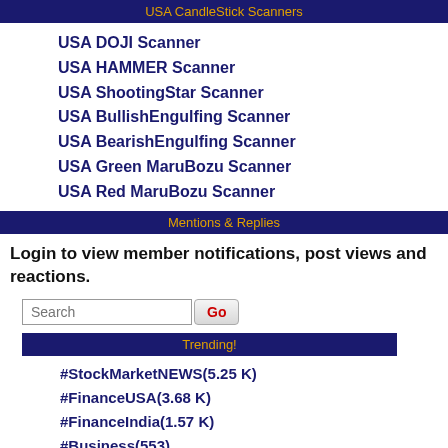USA CandleStick Scanners
USA DOJI Scanner
USA HAMMER Scanner
USA ShootingStar Scanner
USA BullishEngulfing Scanner
USA BearishEngulfing Scanner
USA Green MaruBozu Scanner
USA Red MaruBozu Scanner
Mentions & Replies
Login to view member notifications, post views and reactions.
Trending!
#StockMarketNEWS(5.25 K)
#FinanceUSA(3.68 K)
#FinanceIndia(1.57 K)
#Business(553)